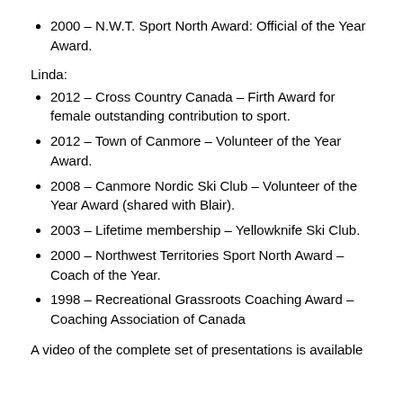2000 – N.W.T. Sport North Award: Official of the Year Award.
Linda:
2012 – Cross Country Canada – Firth Award for female outstanding contribution to sport.
2012 – Town of Canmore – Volunteer of the Year Award.
2008 – Canmore Nordic Ski Club – Volunteer of the Year Award (shared with Blair).
2003 – Lifetime membership – Yellowknife Ski Club.
2000 – Northwest Territories Sport North Award – Coach of the Year.
1998 – Recreational Grassroots Coaching Award – Coaching Association of Canada
A video of the complete set of presentations is available